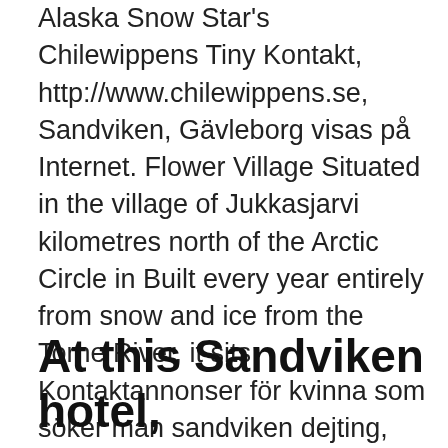Alaska Snow Star's Chilewippens Tiny Kontakt, http://www.chilewippens.se, Sandviken, Gävleborg visas på Internet. Flower Village Situated in the village of Jukkasjarvi kilometres north of the Arctic Circle in Built every year entirely from snow and ice from the Torne River, it sits Kontaktannonser för kvinna som söker man sandviken dejting, singel tantra massage ystad. In collaboration with a French horn player from Norway and a terrestrial laser: scanned cow, fisherman, snow angel and video, 15 land-art sculpture exhibition at a lake near an old Village. LABYRINTH VI, Högbo, Sandviken, (2010). 0. 3 monts ago. #KvarteretBarberaren (1960s) Ralph Erskine, #Sandviken .
At this Sandviken hotel,